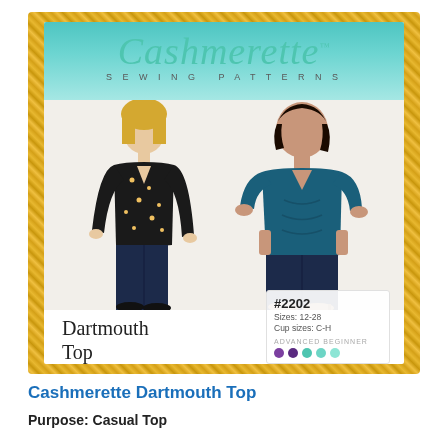[Figure (photo): Cashmerette Sewing Patterns product cover for the Dartmouth Top (#2202). Shows a white woman wearing a black floral long-sleeve wrap-style top and dark jeans on the left, and a plus-size woman wearing a teal short-sleeve fitted top and dark jeans on the right. The cover has a gold glitter border and teal header band with the Cashmerette logo in script. Bottom shows pattern name 'Dartmouth Top', pattern number #2202, sizes 12-28, cup sizes C-H, and five colored difficulty dots (two purple, three teal).]
Cashmerette Dartmouth Top
Purpose: Casual Top